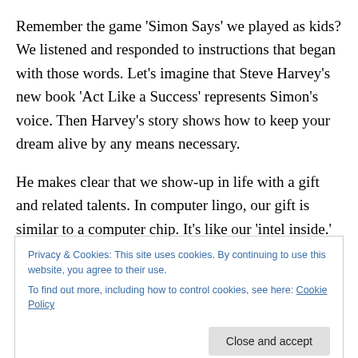Remember the game 'Simon Says' we played as kids? We listened and responded to instructions that began with those words. Let's imagine that Steve Harvey's new book 'Act Like a Success' represents Simon's voice. Then Harvey's story shows how to keep your dream alive by any means necessary.
He makes clear that we show-up in life with a gift and related talents. In computer lingo, our gift is similar to a computer chip. It's like our 'intel inside.' It's our unique intellect or God-given success factor. That gift allows us to
Privacy & Cookies: This site uses cookies. By continuing to use this website, you agree to their use.
To find out more, including how to control cookies, see here: Cookie Policy
we do almost effortlessly that can bring lasting value.